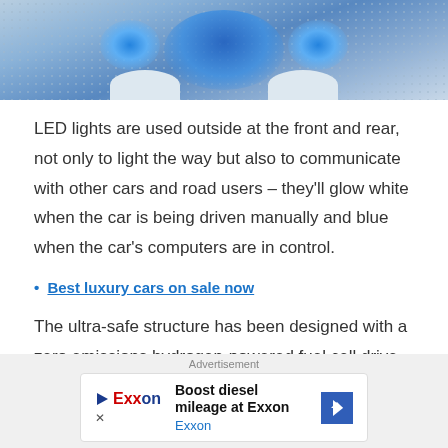[Figure (photo): Top portion of a blue LED car light or futuristic vehicle component, with dotted pattern background and blue glowing circular elements]
LED lights are used outside at the front and rear, not only to light the way but also to communicate with other cars and road users – they'll glow white when the car is being driven manually and blue when the car's computers are in control.
• Best luxury cars on sale now
The ultra-safe structure has been designed with a zero emissions hydrogen-powered fuel cell drive system, based
Advertisement
[Figure (other): Exxon advertisement banner: Boost diesel mileage at Exxon, with Exxon logo and navigation arrow icon]